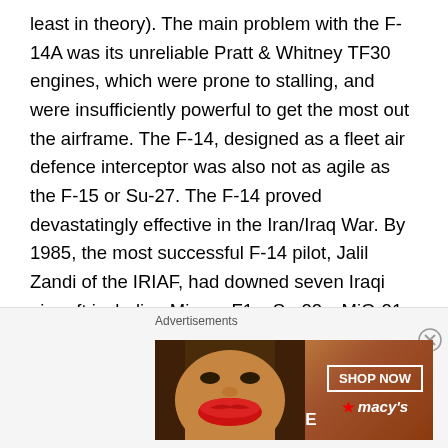least in theory). The main problem with the F-14A was its unreliable Pratt & Whitney TF30 engines, which were prone to stalling, and were insufficiently powerful to get the most out the airframe. The F-14, designed as a fleet air defence interceptor was also not as agile as the F-15 or Su-27. The F-14 proved devastatingly effective in the Iran/Iraq War. By 1985, the most successful F-14 pilot, Jalil Zandi of the IRIAF, had downed seven Iraqi aircraft including Mirage F1s, Su-22s, MiG-21s and MiG-23s. The F-14 was the elite fighter of the IRIAF and it is claimed that it destroyed 160 enemy aircraft including 58 MiG-23s, 23 MiG-21s, nine MiG-25s, 33 Dassault Mirage F1s, 23 Su-17s and five Tu-22s.
[Figure (other): Advertisement banner for Macy's featuring 'KISS BORING LIPS GOODBYE' text with SHOP NOW button and Macy's star logo, with a close button]